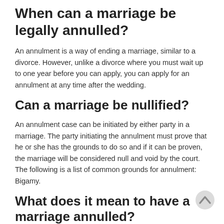When can a marriage be legally annulled?
An annulment is a way of ending a marriage, similar to a divorce. However, unlike a divorce where you must wait up to one year before you can apply, you can apply for an annulment at any time after the wedding.
Can a marriage be nullified?
An annulment case can be initiated by either party in a marriage. The party initiating the annulment must prove that he or she has the grounds to do so and if it can be proven, the marriage will be considered null and void by the court. The following is a list of common grounds for annulment: Bigamy.
What does it mean to have a marriage annulled?